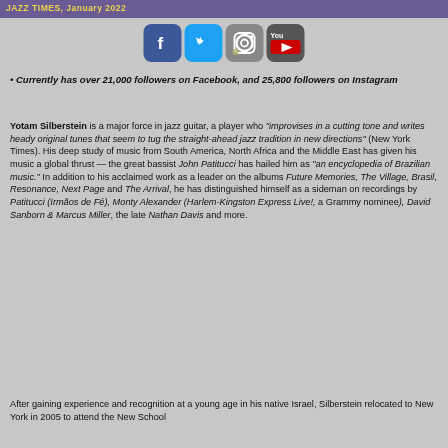JAZZ TIMES, January 2022
[Figure (illustration): Social media icons: Facebook, Twitter, Instagram, YouTube]
• Currently has over 21,000 followers on Facebook, and 25,800 followers on Instagram
Yotam Silberstein is a major force in jazz guitar, a player who "improvises in a cutting tone and writes heady original tunes that seem to tug the straight-ahead jazz tradition in new directions" (New York Times). His deep study of music from South America, North Africa and the Middle East has given his music a global thrust — the great bassist John Patitucci has hailed him as "an encyclopedia of Brazilian music." In addition to his acclaimed work as a leader on the albums Future Memories, The Village, Brasil, Resonance, Next Page and The Arrival, he has distinguished himself as a sideman on recordings by Patitucci (Irmãos de Fé), Monty Alexander (Harlem-Kingston Express Live!, a Grammy nominee), David Sanborn & Marcus Miller, the late Nathan Davis and more.
After gaining experience and recognition at a young age in his native Israel, Silberstein relocated to New York in 2005 to attend the New School